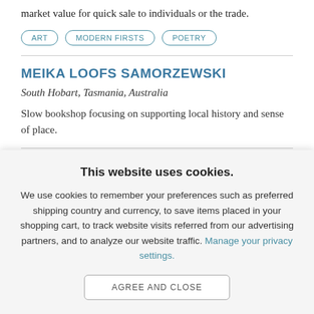market value for quick sale to individuals or the trade.
ART
MODERN FIRSTS
POETRY
MEIKA LOOFS SAMORZEWSKI
South Hobart, Tasmania, Australia
Slow bookshop focusing on supporting local history and sense of place.
This website uses cookies.
We use cookies to remember your preferences such as preferred shipping country and currency, to save items placed in your shopping cart, to track website visits referred from our advertising partners, and to analyze our website traffic. Manage your privacy settings.
AGREE AND CLOSE